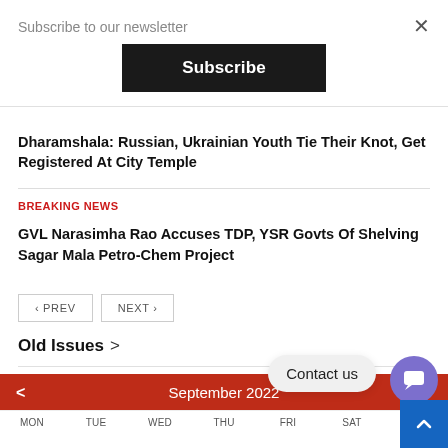Subscribe to our newsletter
Subscribe
×
Dharamshala: Russian, Ukrainian Youth Tie Their Knot, Get Registered At City Temple
BREAKING NEWS
GVL Narasimha Rao Accuses TDP, YSR Govts Of Shelving Sagar Mala Petro-Chem Project
‹ PREV    NEXT ›
Old Issues  ›
< September 2022
MON TUE WED THU FRI SAT SUN
Contact us